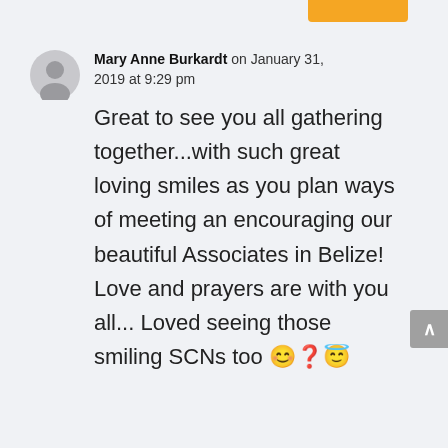Mary Anne Burkardt on January 31, 2019 at 9:29 pm

Great to see you all gathering together...with such great loving smiles as you plan ways of meeting an encouraging our beautiful Associates in Belize! Love and prayers are with you all... Loved seeing those smiling SCNs too 😊🙏👼